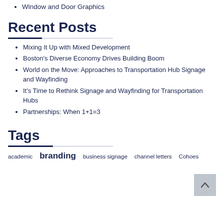Window and Door Graphics
Recent Posts
Mixing It Up with Mixed Development
Boston's Diverse Economy Drives Building Boom
World on the Move: Approaches to Transportation Hub Signage and Wayfinding
It's Time to Rethink Signage and Wayfinding for Transportation Hubs
Partnerships: When 1+1=3
Tags
academic   branding   business signage   channel letters   Cohoes